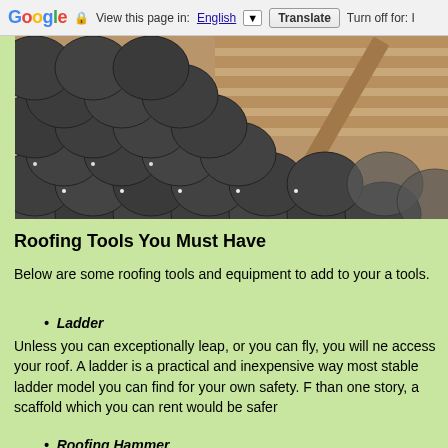Google — View this page in: English ▼  Translate  Turn off for: I
[Figure (photo): Close-up photograph of dark fish-scale style roof shingles being installed, with bare wood decking visible on the right side and a wooden board lying diagonally.]
Roofing Tools You Must Have
Below are some roofing tools and equipment to add to your a tools.
Ladder
Unless you can exceptionally leap, or you can fly, you will ne access your roof. A ladder is a practical and inexpensive way most stable ladder model you can find for your own safety. F than one story, a scaffold which you can rent would be safer
Roofing Hammer